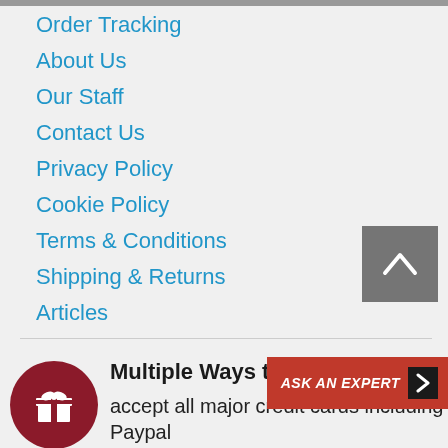Order Tracking
About Us
Our Staff
Contact Us
Privacy Policy
Cookie Policy
Terms & Conditions
Shipping & Returns
Articles
[Figure (illustration): Dark red circular gift icon with white gift box symbol]
Multiple Ways to Pay
accept all major credit cards including Paypal
[Figure (other): ASK AN EXPERT button with red background and dark arrow chevron]